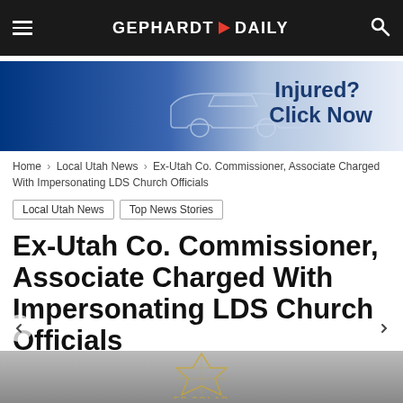GEPHARDT DAILY
[Figure (illustration): Advertisement banner with car silhouette and text 'Injured? Click Now']
Home > Local Utah News > Ex-Utah Co. Commissioner, Associate Charged With Impersonating LDS Church Officials
Local Utah News
Top News Stories
Ex-Utah Co. Commissioner, Associate Charged With Impersonating LDS Church Officials
By Gephardt Daily Staff - February 22, 2016